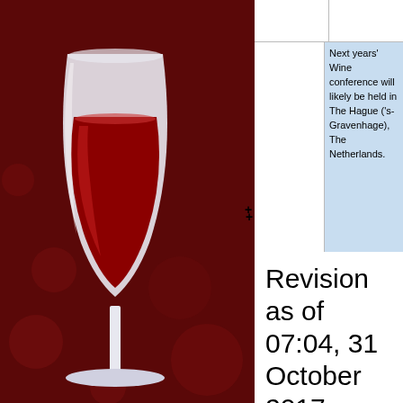[Figure (illustration): Wine logo illustration: a red wine glass with dark red/maroon swirling background]
Next years' Wine conference will likely be held in The Hague ('s-Gravenhage), The Netherlands.
=== Wine Test review ===
=== Wine Test review ===
Revision as of 07:04, 31 October 2017
Contents [hide]